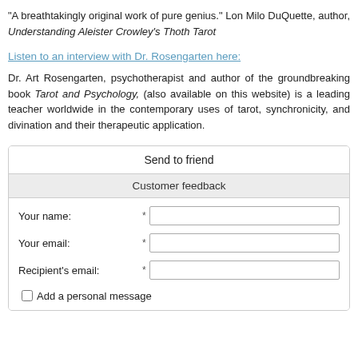“A breathtakingly original work of pure genius.” Lon Milo DuQuette, author, Understanding Aleister Crowley’s Thoth Tarot
Listen to an interview with Dr. Rosengarten here:
Dr. Art Rosengarten, psychotherapist and author of the groundbreaking book Tarot and Psychology, (also available on this website) is a leading teacher worldwide in the contemporary uses of tarot, synchronicity, and divination and their therapeutic application.
| Send to friend |
| Customer feedback |
| Your name: | * |  |
| Your email: | * |  |
| Recipient's email: | * |  |
| Add a personal message |  |  |